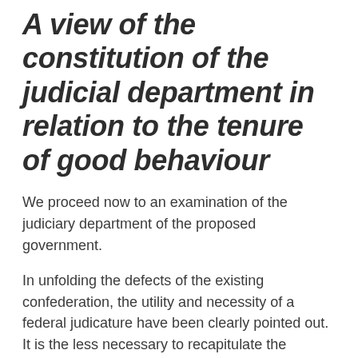A view of the constitution of the judicial department in relation to the tenure of good behaviour
We proceed now to an examination of the judiciary department of the proposed government.
In unfolding the defects of the existing confederation, the utility and necessity of a federal judicature have been clearly pointed out. It is the less necessary to recapitulate the considerations there urged, as the propriety of the institution in the abstract is not